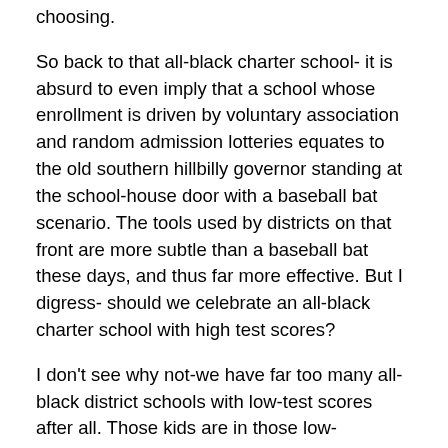choosing.
So back to that all-black charter school- it is absurd to even imply that a school whose enrollment is driven by voluntary association and random admission lotteries equates to the old southern hillbilly governor standing at the school-house door with a baseball bat scenario. The tools used by districts on that front are more subtle than a baseball bat these days, and thus far more effective. But I digress- should we celebrate an all-black charter school with high test scores?
I don't see why not-we have far too many all-black district schools with low-test scores after all. Those kids are in those low-performing district schools in part because they were excluded from other opportunities, whereas the charter students were included in a new education